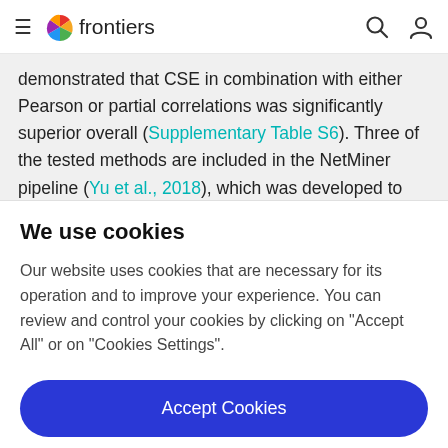frontiers
demonstrated that CSE in combination with either Pearson or partial correlations was significantly superior overall (Supplementary Table S6). Three of the tested methods are included in the NetMiner pipeline (Yu et al., 2018), which was developed to make a consensus GCN
We use cookies
Our website uses cookies that are necessary for its operation and to improve your experience. You can review and control your cookies by clicking on "Accept All" or on "Cookies Settings".
Accept Cookies
Cookies Settings